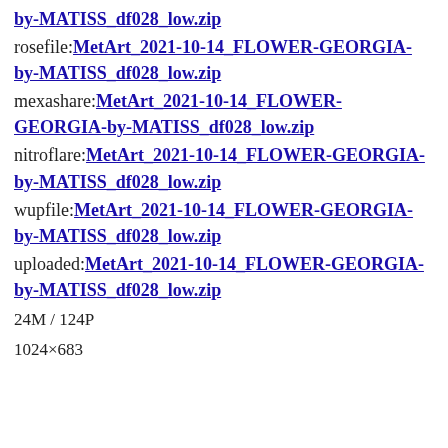by-MATISS_df028_low.zip
rosefile:MetArt_2021-10-14_FLOWER-GEORGIA-by-MATISS_df028_low.zip
mexashare:MetArt_2021-10-14_FLOWER-GEORGIA-by-MATISS_df028_low.zip
nitroflare:MetArt_2021-10-14_FLOWER-GEORGIA-by-MATISS_df028_low.zip
wupfile:MetArt_2021-10-14_FLOWER-GEORGIA-by-MATISS_df028_low.zip
uploaded:MetArt_2021-10-14_FLOWER-GEORGIA-by-MATISS_df028_low.zip
24M / 124P
1024×683